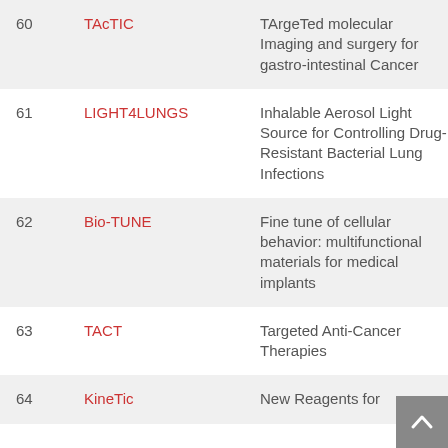| # | Name | Description | Year |
| --- | --- | --- | --- |
| 60 | TAcTIC | TArgeTed molecular Imaging and surgery for gastro-intestinal Cancer | 2019 |
| 61 | LIGHT4LUNGS | Inhalable Aerosol Light Source for Controlling Drug-Resistant Bacterial Lung Infections | 2019 |
| 62 | Bio-TUNE | Fine tune of cellular behavior: multifunctional materials for medical implants | 2020 |
| 63 | TACT | Targeted Anti-Cancer Therapies | 2020 |
| 64 | KineTic | New Reagents for | 2020 |